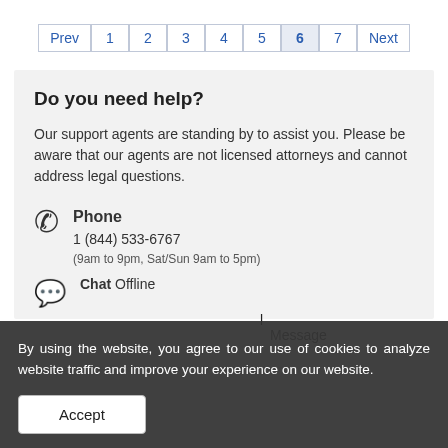Prev 1 2 3 4 5 6 7 Next
Do you need help?
Our support agents are standing by to assist you. Please be aware that our agents are not licensed attorneys and cannot address legal questions.
Phone
1 (844) 533-6767
(9am to 9pm, Sat/Sun 9am to 5pm)
Chat
Offline
Message
By using the website, you agree to our use of cookies to analyze website traffic and improve your experience on our website.
Accept